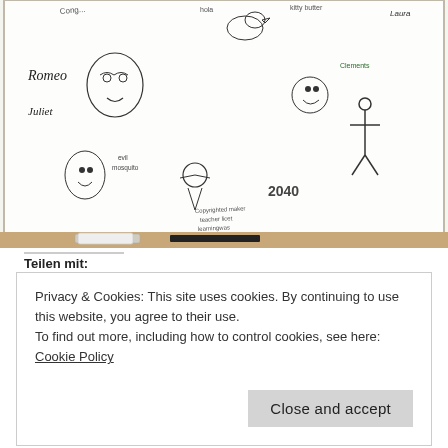[Figure (photo): A whiteboard covered in many hand-drawn doodles and sketches including characters like Romeo and Juliet, cartoon animals, faces, and various drawings. At the bottom of the whiteboard are markers and an eraser. The drawings include text labels and various comic-style illustrations.]
Teilen mit:
Privacy & Cookies: This site uses cookies. By continuing to use this website, you agree to their use.
To find out more, including how to control cookies, see here: Cookie Policy
Close and accept